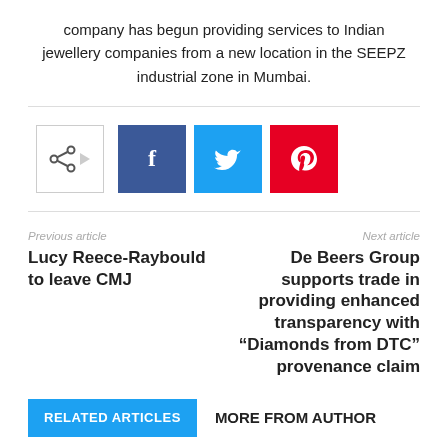company has begun providing services to Indian jewellery companies from a new location in the SEEPZ industrial zone in Mumbai.
[Figure (infographic): Social share buttons: share icon with arrow, Facebook (f), Twitter (bird icon), Pinterest (p)]
Previous article
Lucy Reece-Raybould to leave CMJ
Next article
De Beers Group supports trade in providing enhanced transparency with “Diamonds from DTC” provenance claim
RELATED ARTICLES MORE FROM AUTHOR